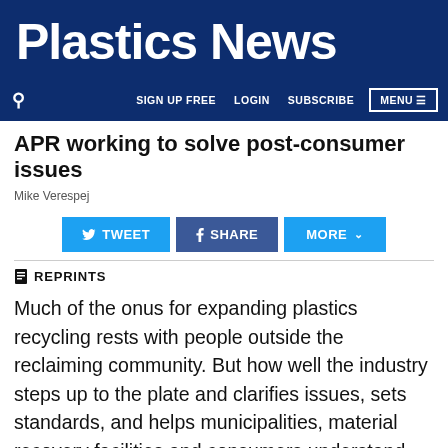Plastics News
SIGN UP FREE  LOGIN  SUBSCRIBE  MENU
APR working to solve post-consumer issues
Mike Verespej
[Figure (other): Social sharing buttons: TWEET, SHARE, MORE]
REPRINTS
Much of the onus for expanding plastics recycling rests with people outside the reclaiming community. But how well the industry steps up to the plate and clarifies issues, sets standards, and helps municipalities, material recovery facilities and consumers understand the value of recycling could